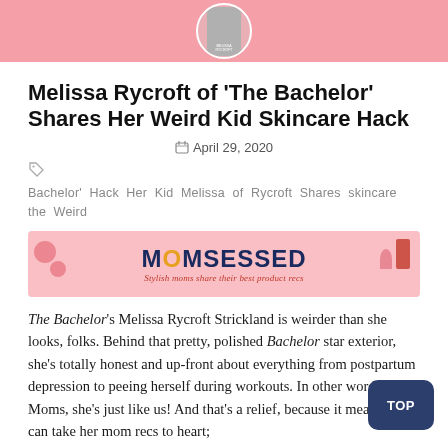[Figure (photo): Pink banner header image with a circular photo of a woman with long blonde hair, small book/magazine cover inset]
Melissa Rycroft of 'The Bachelor' Shares Her Weird Kid Skincare Hack
April 29, 2020
Bachelor'  Hack  Her  Kid  Melissa  of  Rycroft  Shares  skincare  the  Weird
[Figure (illustration): MOMSESSED banner ad — pink background with beauty product illustrations. Text: MOMSESSED, Stylish moms share their best product recs]
The Bachelor's Melissa Rycroft Strickland is weirder than she looks, folks. Behind that pretty, polished Bachelor star exterior, she's totally honest and up-front about everything from postpartum depression to peeing herself during workouts. In other words: Moms, she's just like us! And that's a relief, because it means we can take her mom recs to heart;